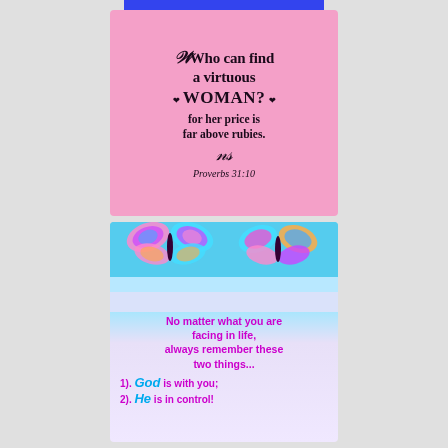[Figure (illustration): Pink background scripture card with text: 'Who can find a virtuous woman? For her price is far above rubies. Proverbs 31:10']
[Figure (illustration): Blue and purple background card with colorful butterflies and text: 'No matter what you are facing in life, always remember these two things... 1). God is with you; 2). He is in control!']